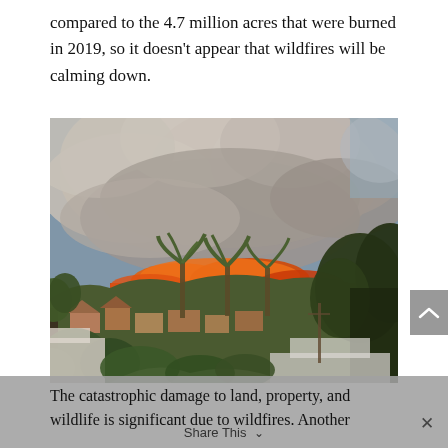compared to the 4.7 million acres that were burned in 2019, so it doesn't appear that wildfires will be calming down.
[Figure (photo): Photograph of a massive wildfire with huge billowing smoke clouds rising above a residential neighborhood. Orange flames are visible on a hillside, palm trees and other trees are silhouetted in the foreground, and suburban houses line the street below.]
The catastrophic damage to land, property, and wildlife is significant due to wildfires. Another